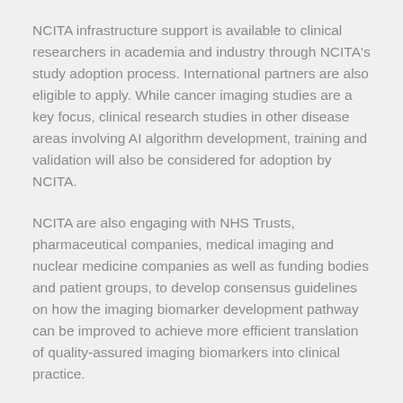NCITA infrastructure support is available to clinical researchers in academia and industry through NCITA's study adoption process. International partners are also eligible to apply. While cancer imaging studies are a key focus, clinical research studies in other disease areas involving AI algorithm development, training and validation will also be considered for adoption by NCITA.
NCITA are also engaging with NHS Trusts, pharmaceutical companies, medical imaging and nuclear medicine companies as well as funding bodies and patient groups, to develop consensus guidelines on how the imaging biomarker development pathway can be improved to achieve more efficient translation of quality-assured imaging biomarkers into clinical practice.
Researchers interested in finding out more about